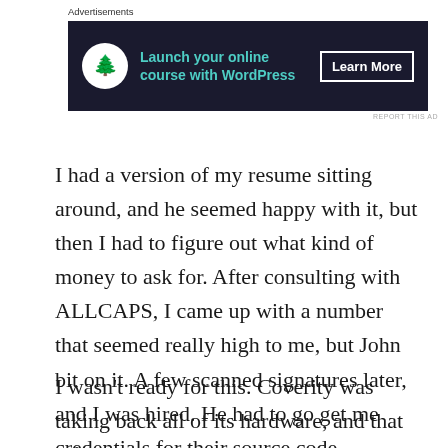[Figure (other): Advertisement banner for 'Launch your online course with WordPress' with a Learn More button, dark background with teal text and a bonsai tree logo icon.]
I had a version of my resume sitting around, and he seemed happy with it, but then I had to figure out what kind of money to ask for. After consulting with ALLCAPS, I came up with a number that seemed really high to me, but John bit on it. A few scanned signatures later, and I was hired. He had to go get me credentials for their source code repository.
I wasn't ready for this. Coverity was taking back all of its hardware, and that left me with my Mac Pro. Except I did not have a monitor because mine had died and I